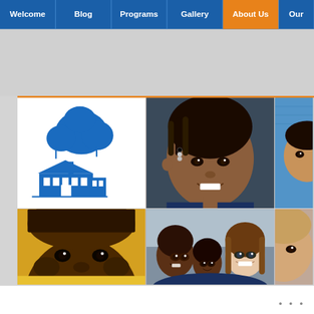Welcome | Blog | Programs | Gallery | About Us | Our...
[Figure (logo): Blue illustrated logo of a house/school building with a large oak tree, rendered in blue silhouette style]
[Figure (photo): Close-up portrait of a smiling young Black girl with braided hair and decorative hair clips, wearing a dark top]
[Figure (photo): Partial view of a child's face on blue background, cropped at right edge]
[Figure (photo): Close-up portrait of a young Black boy wearing a yellow top, looking at camera]
[Figure (photo): Group photo of three smiling children outdoors]
[Figure (photo): Partial portrait of a child, cropped at right edge]
...